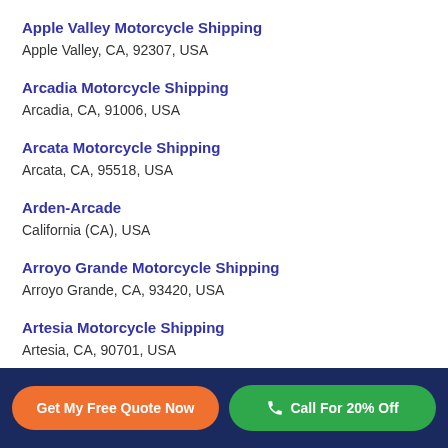Apple Valley Motorcycle Shipping
Apple Valley, CA, 92307, USA
Arcadia Motorcycle Shipping
Arcadia, CA, 91006, USA
Arcata Motorcycle Shipping
Arcata, CA, 95518, USA
Arden-Arcade
California (CA), USA
Arroyo Grande Motorcycle Shipping
Arroyo Grande, CA, 93420, USA
Artesia Motorcycle Shipping
Artesia, CA, 90701, USA
Artesia Motorcycle Shipping
Get My Free Quote Now | Call For 20% Off